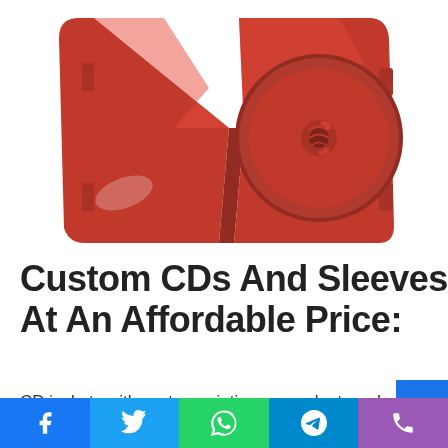[Figure (photo): Open red DVD/CD case showing the interior tray with disc holder on the right side, photographed on a white background]
Custom CDs And Sleeves At An Affordable Price:
CD jackets with custom printing are make to order. Custom
Facebook | Twitter | WhatsApp | Telegram | Phone